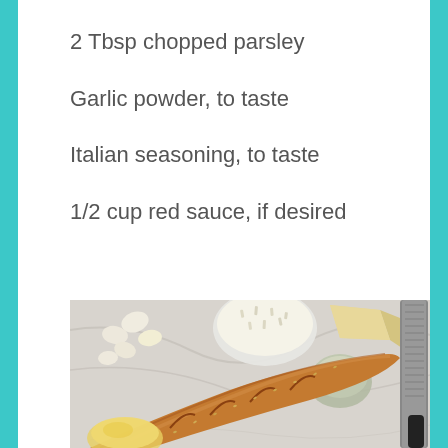2 Tbsp chopped parsley
Garlic powder, to taste
Italian seasoning, to taste
1/2 cup red sauce, if desired
[Figure (photo): Overhead view of bread baguette with garlic cloves, grated parmesan cheese in a bowl, a block of parmesan, a small glass jar with Italian seasoning, a lemon half with olive oil, and a box grater on a marble surface.]